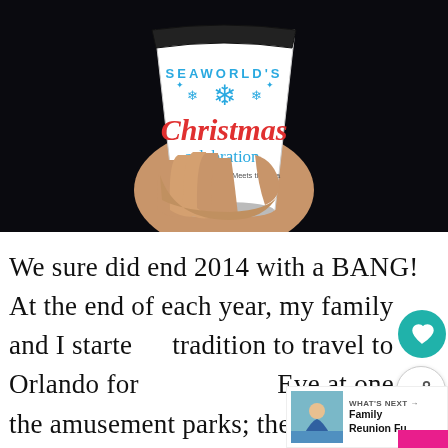[Figure (photo): A hand holding a white paper cup with SeaWorld's Christmas Celebration branding. The cup features blue snowflake graphics and the text 'SEAWORLD'S Christmas celebration. Where the Season Meets the Sea' in blue and red lettering. Dark background.]
We sure did end 2014 with a BANG!  At the end of each year, my family and I started a tradition to travel to Orlando for New Year's Eve at one of the amusement parks; the girls...